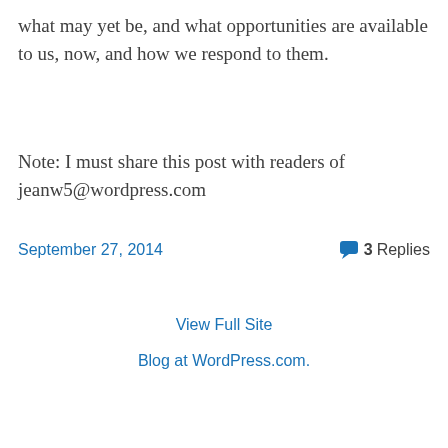what may yet be, and what opportunities are available to us, now, and how we respond to them.
Note: I must share this post with readers of jeanw5@wordpress.com
September 27, 2014   3 Replies
View Full Site
Blog at WordPress.com.